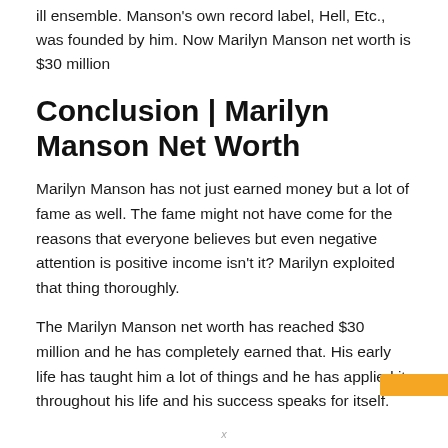ill ensemble. Manson's own record label, Hell, Etc., was founded by him. Now Marilyn Manson net worth is $30 million
Conclusion | Marilyn Manson Net Worth
Marilyn Manson has not just earned money but a lot of fame as well. The fame might not have come for the reasons that everyone believes but even negative attention is positive income isn't it? Marilyn exploited that thing thoroughly.
The Marilyn Manson net worth has reached $30 million and he has completely earned that. His early life has taught him a lot of things and he has applied it throughout his life and his success speaks for itself.